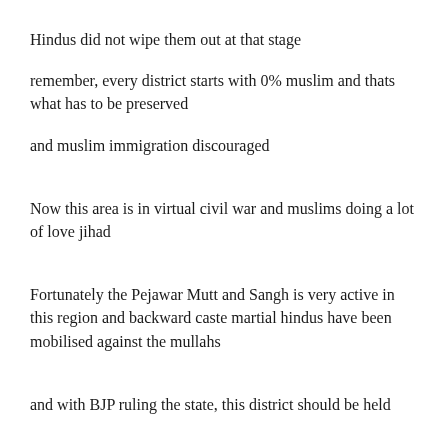Hindus did not wipe them out at that stage
remember, every district starts with 0% muslim and thats what has to be preserved
and muslim immigration discouraged
Now this area is in virtual civil war and muslims doing a lot of love jihad
Fortunately the Pejawar Mutt and Sangh is very active in this region and backward caste martial hindus have been mobilised against the mullahs
and with BJP ruling the state, this district should be held